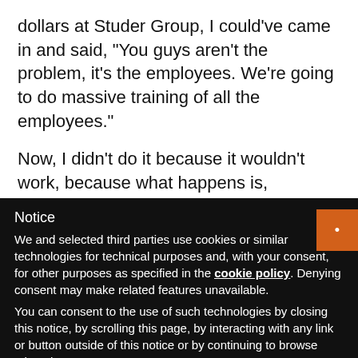dollars at Studer Group, I could've came in and said, “You guys aren't the problem, it's the employees. We're going to do massive training of all the employees.”
Now, I didn't do it because it wouldn't work, because what happens is, employees hear from an outside person, but then they go back and they don't th...
Notice
We and selected third parties use cookies or similar technologies for technical purposes and, with your consent, for other purposes as specified in the cookie policy. Denying consent may make related features unavailable.
You can consent to the use of such technologies by closing this notice, by scrolling this page, by interacting with any link or button outside of this notice or by continuing to browse otherwise.